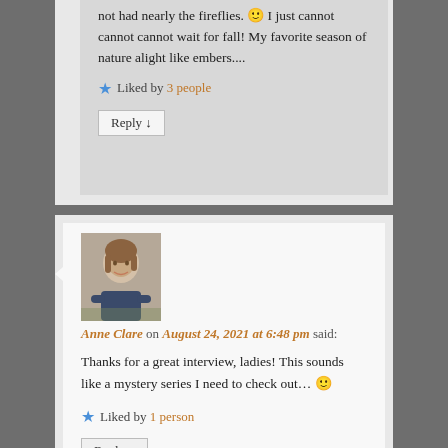not had nearly the fireflies. 🙂 I just cannot cannot cannot wait for fall! My favorite season of nature alight like embers....
★ Liked by 3 people
Reply ↓
[Figure (photo): Profile photo of Anne Clare, a woman with light brown hair smiling, seated outdoors]
Anne Clare on August 24, 2021 at 6:48 pm said:
Thanks for a great interview, ladies! This sounds like a mystery series I need to check out… 🙂
★ Liked by 1 person
Reply ↓